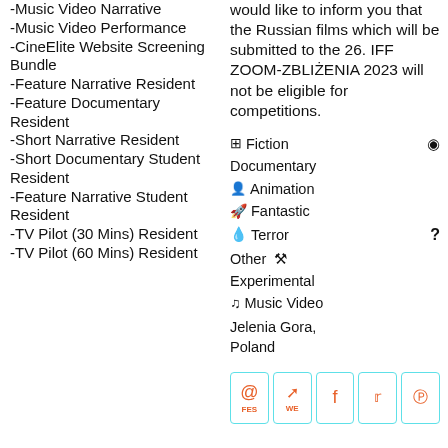-Music Video Narrative
-Music Video Performance
-CineElite Website Screening Bundle
-Feature Narrative Resident
-Feature Documentary Resident
-Short Narrative Resident
-Short Documentary Student Resident
-Feature Narrative Student Resident
-TV Pilot (30 Mins) Resident
-TV Pilot (60 Mins) Resident
would like to inform you that the Russian films which will be submitted to the 26. IFF ZOOM-ZBLIŻENIA 2023 will not be eligible for competitions.
Fiction Documentary Animation Fantastic Terror Other Experimental Music Video
Jelenia Gora, Poland